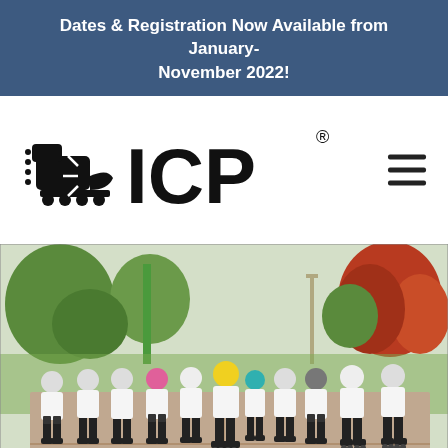Dates & Registration Now Available from January-November 2022!
[Figure (logo): ICP logo with roller skate / inline skate icon to the left of bold text 'ICP' with registered trademark symbol]
[Figure (photo): Group of children and young people wearing white ICP t-shirts, helmets, and inline skates standing on an outdoor skating area in a park setting with green and red-leafed trees in the background]